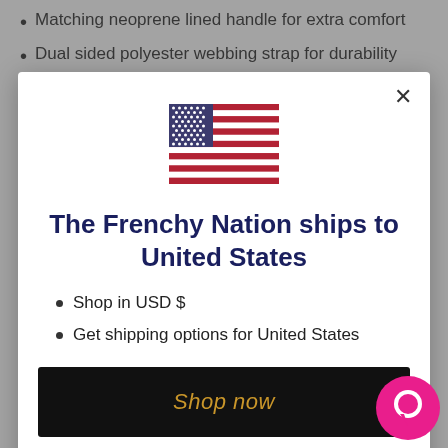Matching neoprene lined handle for extra comfort
Dual sided polyester webbing strap for durability
[Figure (illustration): US flag icon]
The Frenchy Nation ships to United States
Shop in USD $
Get shipping options for United States
Shop now
Change shipping country